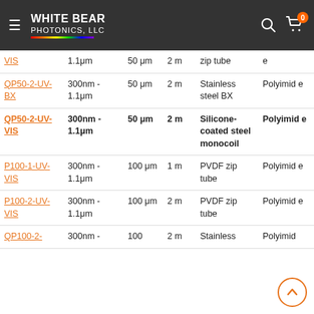White Bear Photonics, LLC
| Name | Wavelength | Core | Length | Jacket | Buffer |
| --- | --- | --- | --- | --- | --- |
| VIS | 300nm - 1.1μm | 50 μm | 2 m | zip tube | e |
| QP50-2-UV-BX | 300nm - 1.1μm | 50 μm | 2 m | Stainless steel BX | Polyimide |
| QP50-2-UV-VIS | 300nm - 1.1μm | 50 μm | 2 m | Silicone-coated steel monocoil | Polyimide |
| P100-1-UV-VIS | 300nm - 1.1μm | 100 μm | 1 m | PVDF zip tube | Polyimide |
| P100-2-UV-VIS | 300nm - 1.1μm | 100 μm | 2 m | PVDF zip tube | Polyimide |
| QP100-2- | 300nm - | 100 | 2 m | Stainless | Polyimid |